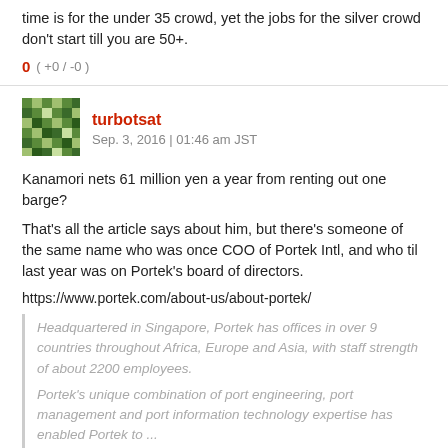time is for the under 35 crowd, yet the jobs for the silver crowd don't start till you are 50+.
0 ( +0 / -0 )
turbotsat
Sep. 3, 2016 | 01:46 am JST
Kanamori nets 61 million yen a year from renting out one barge?
That's all the article says about him, but there's someone of the same name who was once COO of Portek Intl, and who til last year was on Portek's board of directors.
https://www.portek.com/about-us/about-portek/
Headquartered in Singapore, Portek has offices in over 9 countries throughout Africa, Europe and Asia, with staff strength of about 2200 employees.
Portek's unique combination of port engineering, port management and port information technology expertise has enabled Portek to ...
0 ( +0 / -0 )